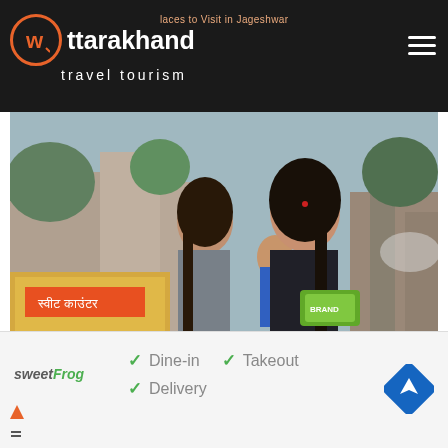Uttarakhand travel tourism — Places to Visit in Jageshwar
[Figure (photo): Two young women standing in front of a temple area in Jageshwar. One holds a food bowl. A small shop with Hindi signage is visible in the background. Watermark: UttarakhandTravelTourism.com]
Historical Tour
Location: Jageshwar
ration: 3 Days / 2 Nights
[Figure (infographic): Ad strip showing sweetFrog logo, checkmarks for Dine-in, Takeout, Delivery, and a blue navigation arrow icon]
Dine-in
Takeout
Delivery